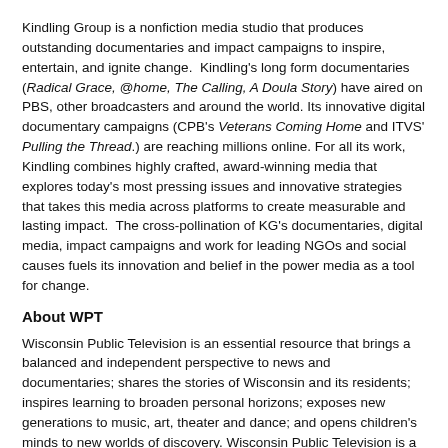Kindling Group is a nonfiction media studio that produces outstanding documentaries and impact campaigns to inspire, entertain, and ignite change. Kindling's long form documentaries (Radical Grace, @home, The Calling, A Doula Story) have aired on PBS, other broadcasters and around the world. Its innovative digital documentary campaigns (CPB's Veterans Coming Home and ITVS' Pulling the Thread.) are reaching millions online. For all its work, Kindling combines highly crafted, award-winning media that explores today's most pressing issues and innovative strategies that takes this media across platforms to create measurable and lasting impact. The cross-pollination of KG's documentaries, digital media, impact campaigns and work for leading NGOs and social causes fuels its innovation and belief in the power media as a tool for change.
About WPT
Wisconsin Public Television is an essential resource that brings a balanced and independent perspective to news and documentaries; shares the stories of Wisconsin and its residents; inspires learning to broaden personal horizons; exposes new generations to music, art, theater and dance; and opens children's minds to new worlds of discovery. Wisconsin Public Television is a place to grow through learning on WHA-TV, Madison; WPNE-TV, Green Bay; WHRM-TV, Wausau; WLEF-TV, Park Falls; WHLA- TV, La Crosse; and WHWC-TV, Menomonie-Eau Claire.
About CPB
The Corporation for Public Broadcasting (CPB), a private, nonprofit corporation created by Congress in 1967, is the steward of the federal